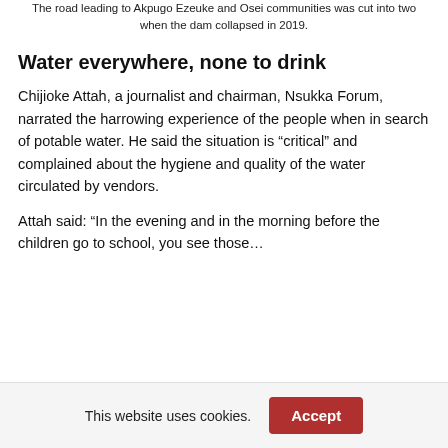The road leading to Akpugo Ezeuke and Usen communities was cut into two when the dam collapsed in 2019.
Water everywhere, none to drink
Chijioke Attah, a journalist and chairman, Nsukka Forum, narrated the harrowing experience of the people when in search of potable water. He said the situation is “critical” and complained about the hygiene and quality of the water circulated by vendors.
Attah said: “In the evening and in the morning before the children go to school, you see those…
This website uses cookies.
Accept